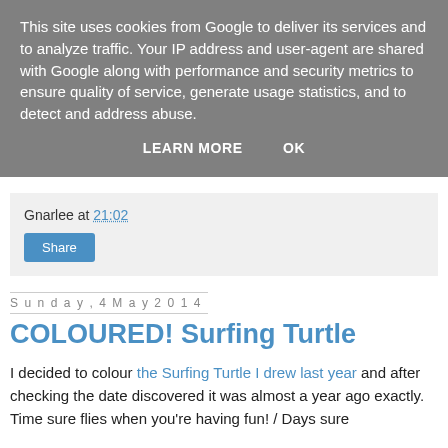This site uses cookies from Google to deliver its services and to analyze traffic. Your IP address and user-agent are shared with Google along with performance and security metrics to ensure quality of service, generate usage statistics, and to detect and address abuse.
LEARN MORE    OK
Gnarlee at 21:02
Share
Sunday, 4 May 2014
COLOURED! Surfing Turtle
I decided to colour the Surfing Turtle I drew last year and after checking the date discovered it was almost a year ago exactly. Time sure flies when you're having fun! / Days sure